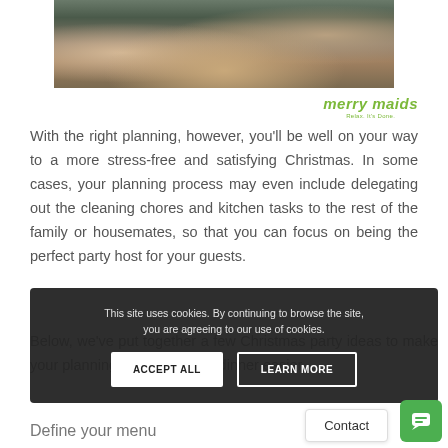[Figure (photo): Photo of food on a dark tray, Christmas party food scene, top-down view with person visible in background]
[Figure (logo): Merry Maids logo — green italic text 'merry maids' with tagline 'Relax. It's Done.']
With the right planning, however, you'll be well on your way to a more stress-free and satisfying Christmas. In some cases, your planning process may even include delegating out the cleaning chores and kitchen tasks to the rest of the family or housemates, so that you can focus on being the perfect party host for your guests.
Below, we've put together a few Christmas party ideas to make your planning and Christmas dinner easier.
This site uses cookies. By continuing to browse the site, you are agreeing to our use of cookies.
Define your menu